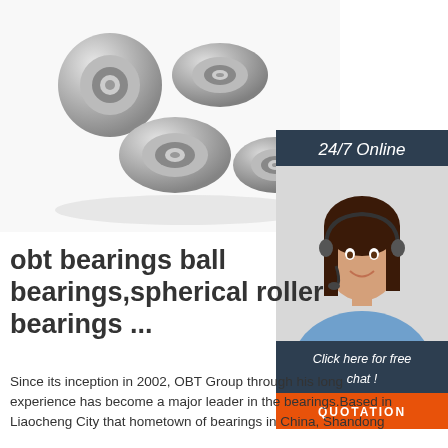[Figure (photo): Multiple metallic ball bearings (chrome steel, round, shielded) stacked together on white background]
[Figure (photo): 24/7 Online customer service agent — smiling woman wearing headset, with dark hair, blue shirt. Sidebar includes '24/7 Online', 'Click here for free chat!', and orange QUOTATION button]
obt bearings ball bearings,spherical roller bearings ...
Since its inception in 2002, OBT Group through his long experience has become a major leader in the bearings.Based in Liaocheng City that hometown of bearings in China, Shandong OBt...Better Bearing Graded chain and ISO certified...